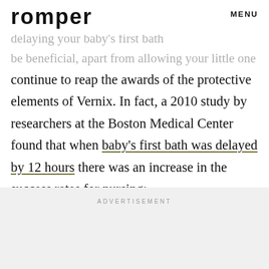romper   MENU
delaying your baby's first bath… be beneficial, apart from allowing your little one to
continue to reap the awards of the protective elements of Vernix. In fact, a 2010 study by researchers at the Boston Medical Center found that when baby's first bath was delayed by 12 hours there was an increase in the success rates for nursing:
ADVERTISEMENT